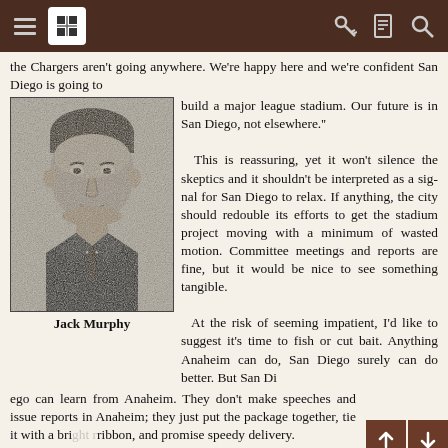Navigation toolbar with hamburger menu, grid icon, key icon, document icon, and search icon
the Chargers aren't going anywhere. We're happy here and we're confident San Diego is going to build a major league stadium. Our future is in San Diego, not elsewhere."
[Figure (photo): Black and white newspaper photograph of Jack Murphy, a man in a suit and tie]
Jack Murphy
This is reassuring, yet it won't silence the skeptics and it shouldn't be interpreted as a signal for San Diego to relax. If anything, the city should redouble its efforts to get the stadium project moving with a minimum of wasted motion. Committee meetings and reports are fine, but it would be nice to see something tangible.
  At the risk of seeming impatient, I'd like to suggest it's time to fish or cut bait. Anything Anaheim can do, San Diego surely can do better. But San Diego can learn from Anaheim. They don't make speeches and issue reports in Anaheim; they just put the package together, tie it with a bright ribbon, and promise speedy delivery.